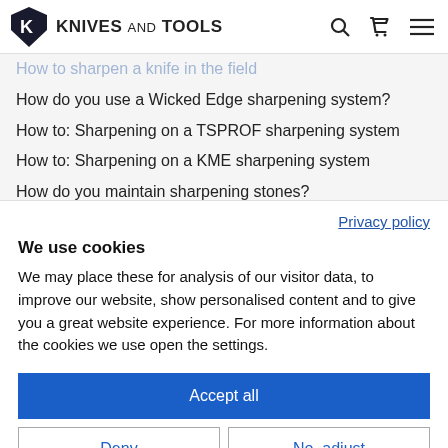KNIVES AND TOOLS
How to sharpen a knife in the field
How do you use a Wicked Edge sharpening system?
How to: Sharpening on a TSPROF sharpening system
How to: Sharpening on a KME sharpening system
How do you maintain sharpening stones?
Privacy policy
We use cookies
We may place these for analysis of our visitor data, to improve our website, show personalised content and to give you a great website experience. For more information about the cookies we use open the settings.
Accept all
Deny
No, adjust